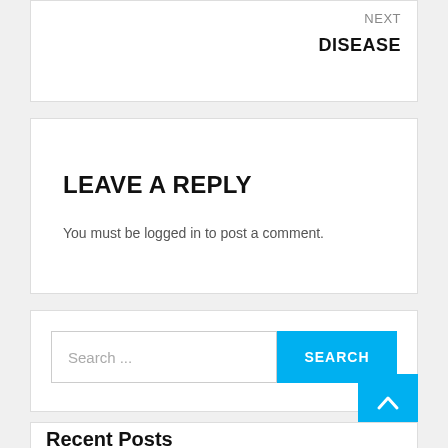NEXT
DISEASE
LEAVE A REPLY
You must be logged in to post a comment.
Search ...
SEARCH
Recent Posts
Sorts Of De...